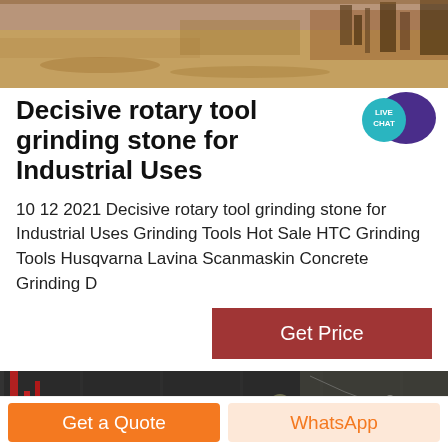[Figure (photo): Aerial or ground-level photo of a sandy/dusty industrial or mining site with machinery visible]
Decisive rotary tool grinding stone for Industrial Uses
10 12 2021 Decisive rotary tool grinding stone for Industrial Uses Grinding Tools Hot Sale HTC Grinding Tools Husqvarna Lavina Scanmaskin Concrete Grinding D
[Figure (other): "Get Price" button — dark red rectangular button]
[Figure (photo): Interior of a large industrial factory/warehouse with overhead structure, bright lights, and Chinese signage]
Get a Quote   WhatsApp